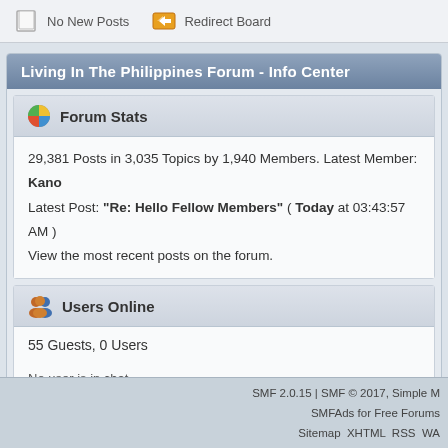No New Posts   Redirect Board
Living In The Philippines Forum - Info Center
Forum Stats
29,381 Posts in 3,035 Topics by 1,940 Members. Latest Member: Kano
Latest Post: "Re: Hello Fellow Members" ( Today at 03:43:57 AM )
View the most recent posts on the forum.
Users Online
55 Guests, 0 Users
No user is in chat.
Most Online Today: 131. Most Online Ever: 224 (July 01, 2015, 12:26:49 PM)
SMF 2.0.15 | SMF © 2017, Simple M SMFAds for Free Forums Sitemap XHTML RSS WA